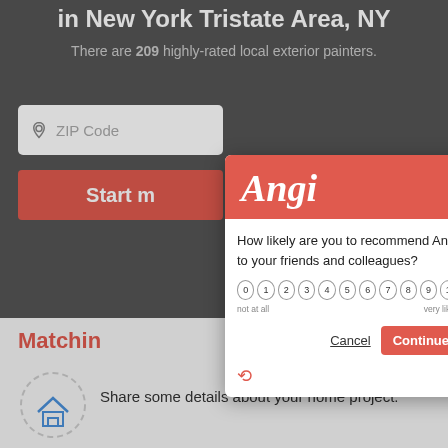in New York Tristate Area, NY
There are 209 highly-rated local exterior painters.
ZIP Code
Start m
[Figure (screenshot): Angi modal dialog with NPS survey asking how likely user is to recommend Angi to friends and colleagues, with a 0-10 scale, Cancel and Continue buttons]
Matchin
Share some details about your home project.